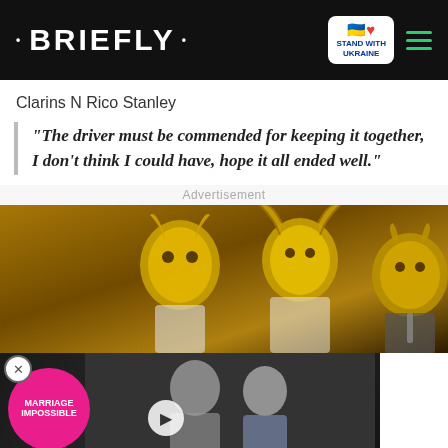• BRIEFLY •
Clarins N Rico Stanley
“The driver must be commended for keeping it together, I don’t think I could have, hope it all ended well.”
Advertisement
[Figure (photo): Advertisement showing people in golden animal masks at top, overlaid with a video player showing two people and a Marriage Impossible badge on pink circle, with a chevron down button and Laziest text visible]
[Figure (photo): Bottom banner: Help Protect Ukrainian Families with DONATE NOW button and Ukraine heart flag logo, with a small image strip on the left]